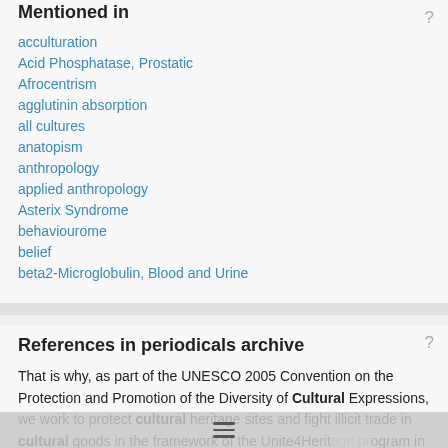Mentioned in
acculturation
Acid Phosphatase, Prostatic
Afrocentrism
agglutinin absorption
all cultures
anatopism
anthropology
applied anthropology
Asterix Syndrome
behaviourome
belief
beta2-Microglobulin, Blood and Urine
References in periodicals archive
That is why, as part of the UNESCO 2005 Convention on the Protection and Promotion of the Diversity of Cultural Expressions, we work to protect cultural heritage sites and fight illicit trade in cultural goods in the framework of the Unite4Heritage program in Syria, Libya and Yemen